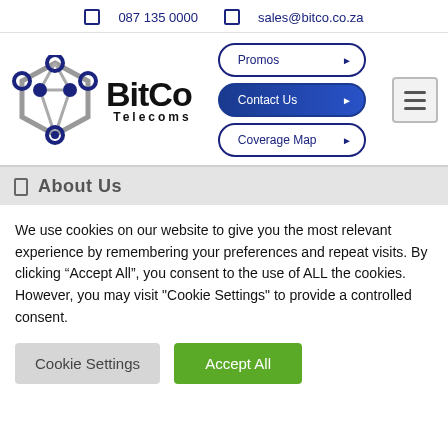087 135 0000   sales@bitco.co.za
[Figure (logo): BitCo Telecoms logo with hexagonal network graphic and text 'BitCo Telecoms']
Promos
Contact Us
Coverage Map
About Us
We use cookies on our website to give you the most relevant experience by remembering your preferences and repeat visits. By clicking “Accept All”, you consent to the use of ALL the cookies. However, you may visit "Cookie Settings" to provide a controlled consent.
Cookie Settings
Accept All